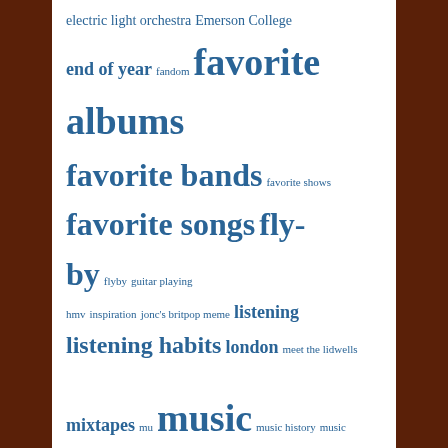[Figure (other): Tag cloud with music-related terms in varying font sizes rendered in blue on white background. Terms include: electric light orchestra, Emerson College, end of year, fandom, favorite albums, favorite bands, favorite shows, favorite songs, fly-by, flyby, guitar playing, hmv, inspiration, jonc's britpop meme, listening, listening habits, london, meet the lidwells, mixtapes, mu, music, music history, music industry, music playing, new music, new releases, outside lands, personal, pictures, radio, reading, record stores, shameless plug, shopping, the beatles, The Boston Years, thirty years on, twenty years on, u2, vacation, video]